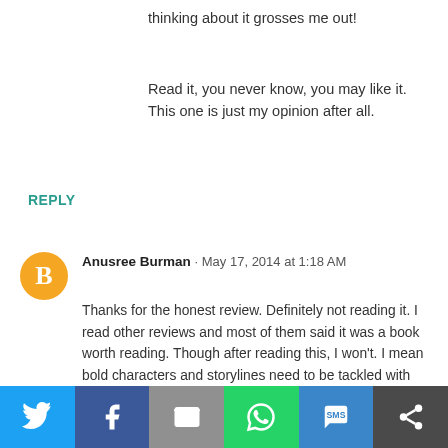thinking about it grosses me out!
Read it, you never know, you may like it. This one is just my opinion after all.
REPLY
Anusree Burman · May 17, 2014 at 1:18 AM
Thanks for the honest review. Definitely not reading it. I read other reviews and most of them said it was a book worth reading. Though after reading this, I won't. I mean bold characters and storylines need to be tackled with class and finesse and having grown up reading the likes of Sheldon and Lahiri (now that's classy) I really don't think I'll enjoy reading this :)